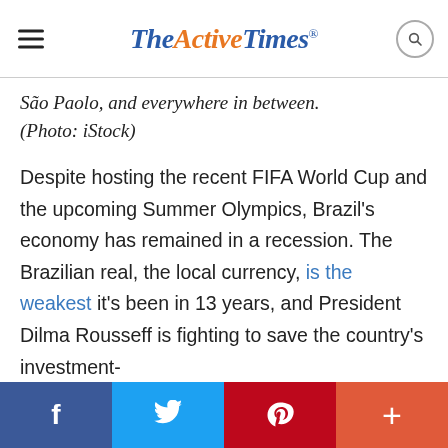TheActiveTimes
São Paolo, and everywhere in between. (Photo: iStock)
Despite hosting the recent FIFA World Cup and the upcoming Summer Olympics, Brazil's economy has remained in a recession. The Brazilian real, the local currency, is the weakest it's been in 13 years, and President Dilma Rousseff is fighting to save the country's investment-
f  twitter  P  +